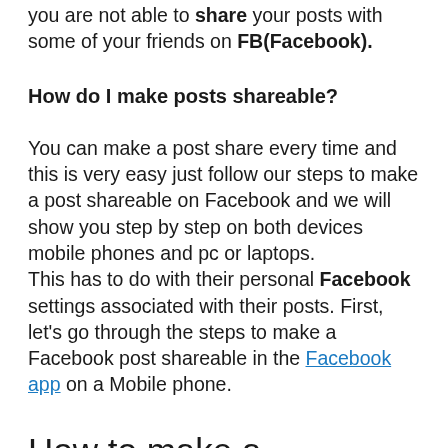you are not able to share your posts with some of your friends on FB(Facebook).
How do I make posts shareable?
You can make a post share every time and this is very easy just follow our steps to make a post shareable on Facebook and we will show you step by step on both devices mobile phones and pc or laptops.
This has to do with their personal Facebook settings associated with their posts. First, let’s go through the steps to make a Facebook post shareable in the Facebook app on a Mobile phone.
How to make a Facebook post shareable on mobile devices